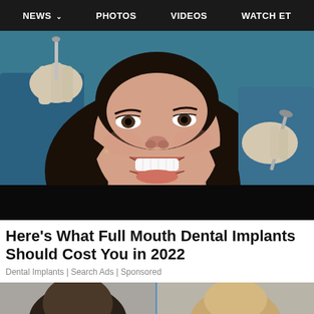NEWS  PHOTOS  VIDEOS  WATCH ET
[Figure (photo): A smiling woman with dark hair reclines in a dental chair. She is smiling broadly showing white teeth. Dental hygienists in blue scrubs and latex gloves hold dental instruments near her face against a teal background.]
Here's What Full Mouth Dental Implants Should Cost You in 2022
Dental Implants | Search Ads | Sponsored
[Figure (photo): Partial view of two images side by side separated by a blue vertical line, showing two people's heads from a low angle, on a gray background.]